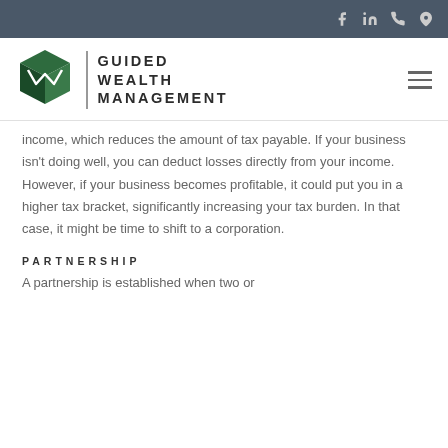Guided Wealth Management — navigation header with social icons
[Figure (logo): Guided Wealth Management logo — geometric GWM cube icon in dark green with vertical divider and bold uppercase text GUIDED WEALTH MANAGEMENT]
income, which reduces the amount of tax payable. If your business isn't doing well, you can deduct losses directly from your income. However, if your business becomes profitable, it could put you in a higher tax bracket, significantly increasing your tax burden. In that case, it might be time to shift to a corporation.
PARTNERSHIP
A partnership is established when two or